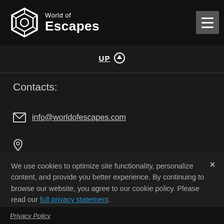World of Escapes
UP ↑
Contacts:
info@worldofescapes.com
We use cookies to optimize site functionality, personalize content, and provide you better experience. By continuing to browse our website, you agree to our cookie policy. Please read our full privacy statement.
Privacy Policy